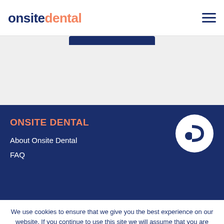onsite dental
[Figure (logo): Onsite Dental logo: 'onsite' in dark navy bold and 'dental' in orange bold, hamburger menu icon top right]
ONSITE DENTAL
About Onsite Dental
FAQ
[Figure (logo): Onsite Dental circular logo: white circle with dark navy tooth/dot icon]
We use cookies to ensure that we give you the best experience on our website. If you continue to use this site we will assume that you are happy with it.